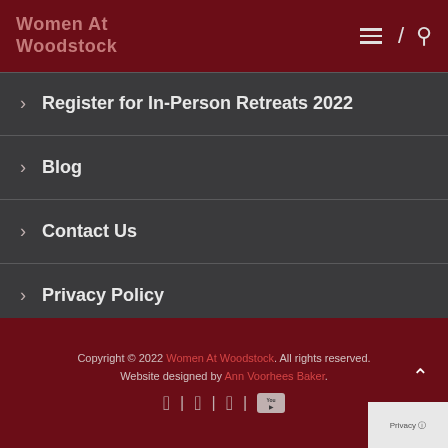Women At Woodstock
Register for In-Person Retreats 2022
Blog
Contact Us
Privacy Policy
Copyright © 2022 Women At Woodstock. All rights reserved. Website designed by Ann Voorhees Baker.